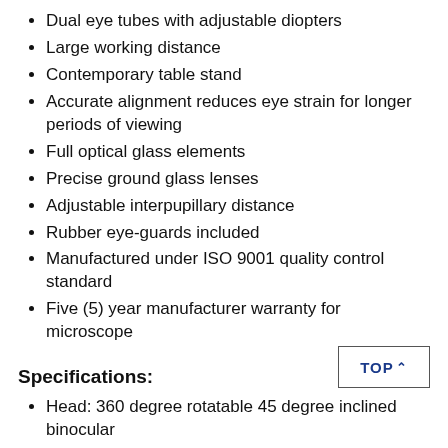Dual eye tubes with adjustable diopters
Large working distance
Contemporary table stand
Accurate alignment reduces eye strain for longer periods of viewing
Full optical glass elements
Precise ground glass lenses
Adjustable interpupillary distance
Rubber eye-guards included
Manufactured under ISO 9001 quality control standard
Five (5) year manufacturer warranty for microscope
Specifications:
Head: 360 degree rotatable 45 degree inclined binocular
Ocular Port Diameter: 30mm
Eyepieces: WF10X/20 10X super-widefield, high-eyepoint with 20mm field-number
Zoom Range: 0.7X-4.5X
Diopter Adjustment: +/-.5dp